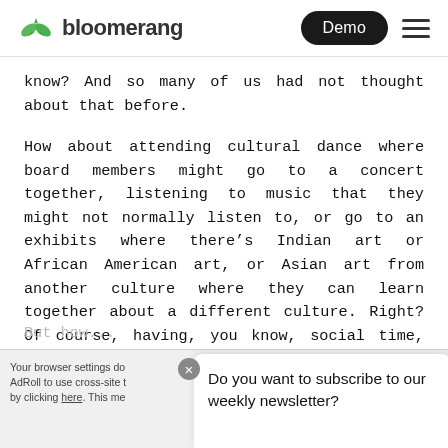bloomerang | Demo
know? And so many of us had not thought about that before.
How about attending cultural dance where board members might go to a concert together, listening to music that they might not normally listen to, or go to an exhibits where there's Indian art or African American art, or Asian art from another culture where they can learn together about a different culture. Right? Of course, having, you know, social time, happy hours, birthdays, or holiday gatherings. I think most boards probably do that.
But how...
Your browser settings do not allow AdRoll to use cross-site tracking by clicking here. This me
Do you want to subscribe to our weekly newsletter?
pt a ... his p... Ac